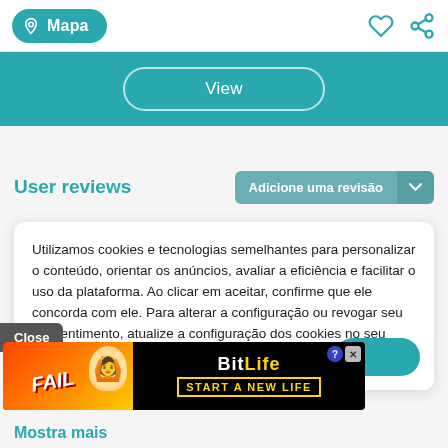Mapa
View
User reviews
Adicione uma revisão
Utilizamos cookies e tecnologias semelhantes para personalizar o conteúdo, orientar os anúncios, avaliar a eficiência e facilitar o uso da plataforma. Ao clicar em aceitar, confirme que ele concorda com ele. Para alterar a configuração ou revogar seu consentimento, atualize a configuração dos cookies no seu navegador.
Close
[Figure (screenshot): BitLife advertisement banner: FAIL text with character emoji on left, BitLife logo and START A NEW LIFE text on right with black background]
Mostra mais